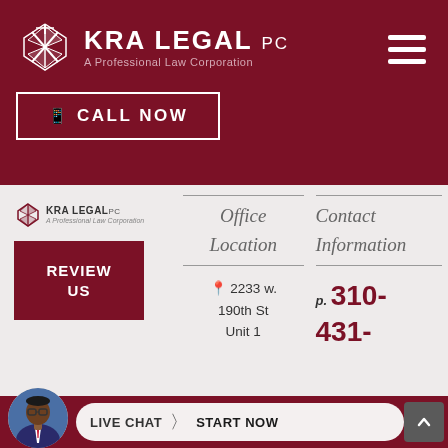[Figure (logo): KRA Legal PC logo with geometric chevron/diamond icon in white, company name KRA LEGAL PC and tagline A Professional Law Corporation on dark red background]
CALL NOW
[Figure (logo): KRA LEGAL PC small logo in footer]
REVIEW US
Office Location
Contact Information
2233 w. 190th St Unit 1
p. 310-431-
LIVE CHAT  START NOW